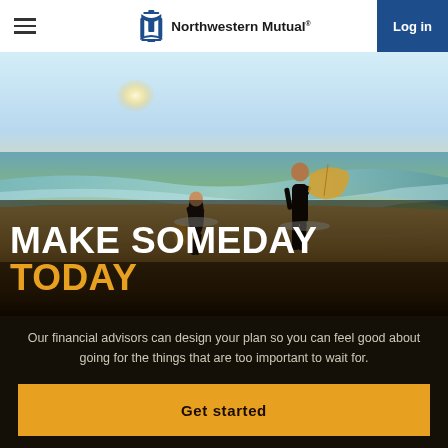Northwestern Mutual · Log in
[Figure (photo): Two surfers in wetsuits walking toward ocean waves on a beach at sunset/sunrise, carrying surfboards, viewed from behind. Text overlay reads MAKE SOMEDAY TODAY.]
MAKE SOMEDAY TODAY
Our financial advisors can design your plan so you can feel good about going for the things that are too important to wait for.
Get started